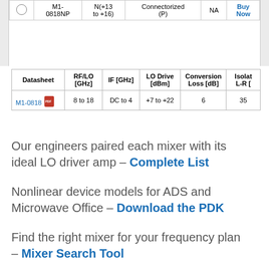| M1-0818NP | N(+13 to +16) | Connectorized (P) | NA | Buy Now |
| Datasheet | RF/LO [GHz] | IF [GHz] | LO Drive [dBm] | Conversion Loss [dB] | Isolat L-R [ |
| --- | --- | --- | --- | --- | --- |
| M1-0818 | 8 to 18 | DC to 4 | +7 to +22 | 6 | 35 |
Our engineers paired each mixer with its ideal LO driver amp – Complete List
Nonlinear device models for ADS and Microwave Office – Download the PDK
Find the right mixer for your frequency plan – Mixer Search Tool